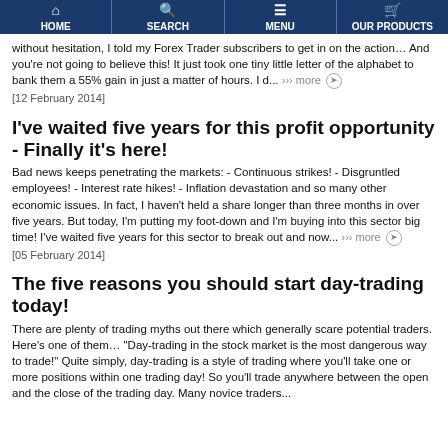HOME | SEARCH | MENU | OUR PRODUCTS
without hesitation, I told my Forex Trader subscribers to get in on the action… And you're not going to believe this! It just took one tiny little letter of the alphabet to bank them a 55% gain in just a matter of hours. I d... ››› more [12 February 2014]
I've waited five years for this profit opportunity - Finally it's here!
Bad news keeps penetrating the markets: - Continuous strikes! - Disgruntled employees! - Interest rate hikes! - Inflation devastation and so many other economic issues. In fact, I haven't held a share longer than three months in over five years. But today, I'm putting my foot-down and I'm buying into this sector big time! I've waited five years for this sector to break out and now... ››› more [05 February 2014]
The five reasons you should start day-trading today!
There are plenty of trading myths out there which generally scare potential traders. Here's one of them… "Day-trading in the stock market is the most dangerous way to trade!" Quite simply, day-trading is a style of trading where you'll take one or more positions within one trading day! So you'll trade anywhere between the open and the close of the trading day. Many novice traders...